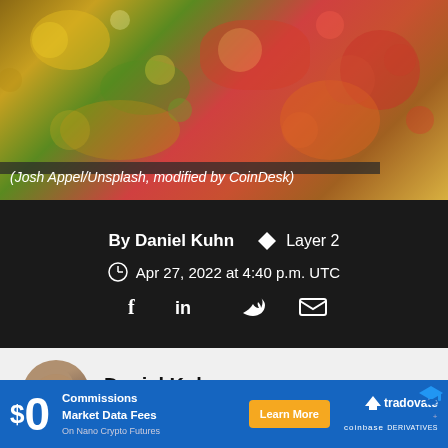[Figure (photo): Abstract colorful background image with bokeh, used as article hero image. Attribution: Josh Appel/Unsplash, modified by CoinDesk.]
(Josh Appel/Unsplash, modified by CoinDesk)
By Daniel Kuhn   ◆  Layer 2
Apr 27, 2022 at 4:40 p.m. UTC
[Figure (photo): Round profile photo of Daniel Kuhn]
Daniel Kuhn
Daniel Kuhn is a features reporter and assistant opinion editor for CoinDesk's Layer 2. He
[Figure (other): Advertisement banner: $0 Commissions, Market Data Fees on Nano Crypto Futures. Learn More button. Tradovate + Coinbase Derivatives logos.]